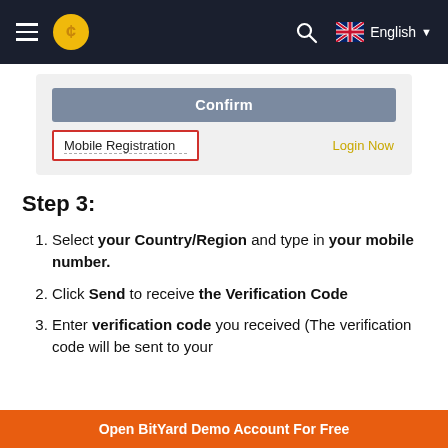BitYard — navigation bar with hamburger menu, logo, search, English language selector
[Figure (screenshot): Mobile app registration screen showing a grey 'Confirm' button, a 'Mobile Registration' tab highlighted with red border, and a 'Login Now' link in gold.]
Step 3:
Select your Country/Region and type in your mobile number.
Click Send to receive the Verification Code
Enter verification code you received (The verification code will be sent to your
Open BitYard Demo Account For Free